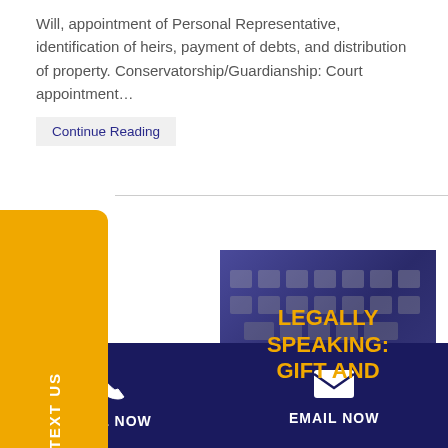Will, appointment of Personal Representative, identification of heirs, payment of debts, and distribution of property. Conservatorship/Guardianship: Court appointment…
Continue Reading
[Figure (illustration): Featured image with dark blue/purple background showing keyboard keys, overlaid with bold yellow text reading 'LEGALLY SPEAKING: GIFT AND']
TEXT US
CALL NOW
EMAIL NOW